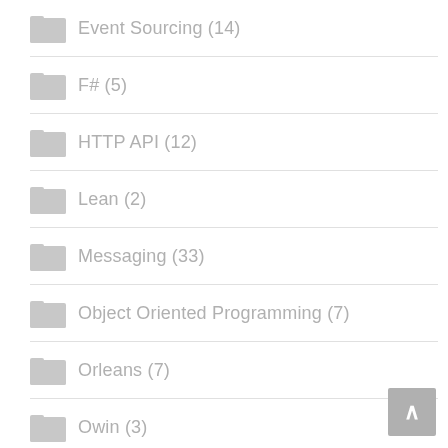Event Sourcing (14)
F# (5)
HTTP API (12)
Lean (2)
Messaging (33)
Object Oriented Programming (7)
Orleans (7)
Owin (3)
Patterns (10)
PHP (1)
Practices (16)
Principles (5)